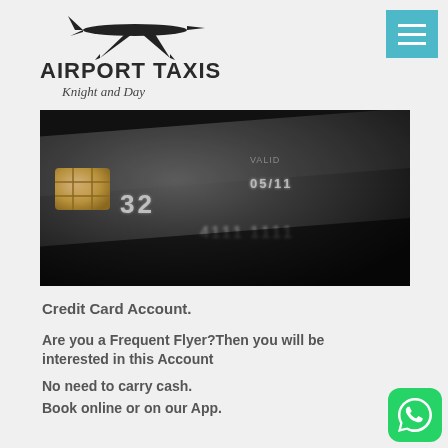[Figure (logo): Airport Taxis Knight and Day logo with airplane silhouette above text]
[Figure (photo): Close-up macro photo of a dark credit card showing embossed numbers, chip, and VALID dates in monochrome]
Credit Card Account.
Are you a Frequent Flyer?Then you will be interested in this Account
No need to carry cash.
Book online or on our App.